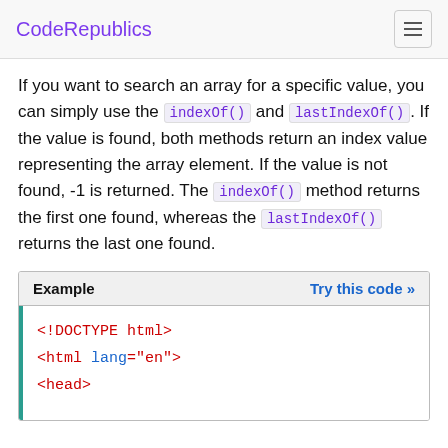CodeRepublics
If you want to search an array for a specific value, you can simply use the indexOf() and lastIndexOf(). If the value is found, both methods return an index value representing the array element. If the value is not found, -1 is returned. The indexOf() method returns the first one found, whereas the lastIndexOf() returns the last one found.
| Example | Try this code » |
| --- | --- |
| <!DOCTYPE html>
<html lang="en">
<head> |  |